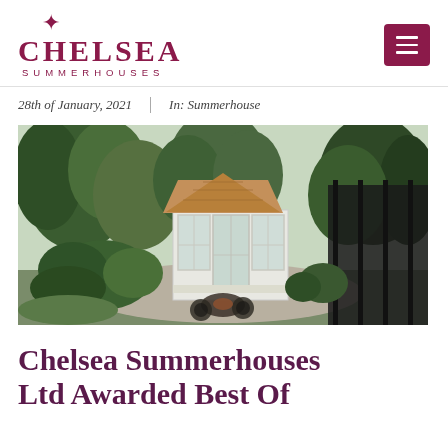[Figure (logo): Chelsea Summerhouses logo with fleur-de-lis icon in dark red/maroon, company name CHELSEA in large letters, SUMMERHOUSES in small spaced letters below]
28th of January, 2021  |  In: Summerhouse
[Figure (photo): Photograph of a white-painted summerhouse/garden room with cedar shingle roof, glass windows and French doors, surrounded by lush garden greenery, dark fence on right, patio furniture in foreground]
Chelsea Summerhouses Ltd Awarded Best Of